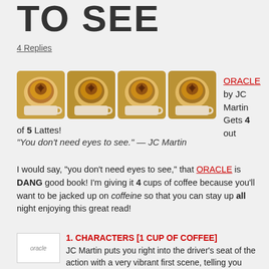TO SEE
4 Replies
[Figure (photo): Four latte cup photos side by side used as a rating of 4 out of 5 lattes]
ORACLE by JC Martin Gets 4 out of 5 Lattes!
"You don't need eyes to see." — JC Martin
I would say, "you don't need eyes to see," that ORACLE is DANG good book! I'm giving it 4 cups of coffee because you'll want to be jacked up on coffeine so that you can stay up all night enjoying this great read!
1. CHARACTERS [1 CUP OF COFFEE]
[Figure (photo): Small oracle book thumbnail image]
JC Martin puts you right into the driver's seat of the action with a very vibrant first scene, telling you exactly how things